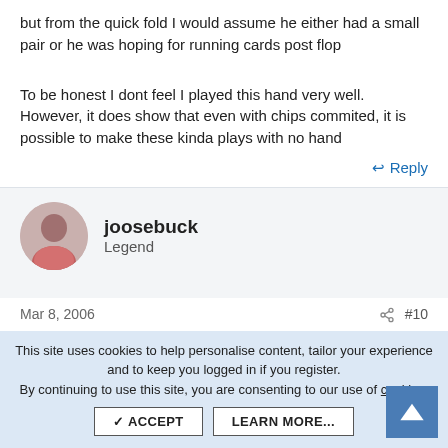but from the quick fold I would assume he either had a small pair or he was hoping for running cards post flop
To be honest I dont feel I played this hand very well. However, it does show that even with chips commited, it is possible to make these kinda plays with no hand
Reply
joosebuck
Legend
Mar 8, 2006  #10
it's also possible to swan dive off of a tall building onto pavement, but it is very hazardous to your health, as is this
This site uses cookies to help personalise content, tailor your experience and to keep you logged in if you register.
By continuing to use this site, you are consenting to our use of cookies.
ACCEPT
LEARN MORE...